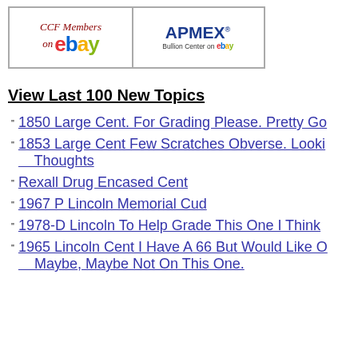[Figure (other): Two banner advertisements side by side: left shows 'CCF Members on eBay' with eBay logo in red/blue/yellow/green, right shows 'APMEX Bullion Center on eBay' logo]
View Last 100 New Topics
1850 Large Cent. For Grading Please. Pretty Go...
1853 Large Cent Few Scratches Obverse. Looki... Thoughts
Rexall Drug Encased Cent
1967 P Lincoln Memorial Cud
1978-D Lincoln To Help Grade This One I Think...
1965 Lincoln Cent I Have A 66 But Would Like O... Maybe, Maybe Not On This One.